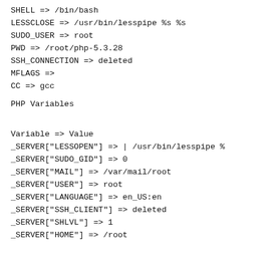SHELL => /bin/bash
LESSCLOSE => /usr/bin/lesspipe %s %s
SUDO_USER => root
PWD => /root/php-5.3.28
SSH_CONNECTION => deleted
MFLAGS =>
CC => gcc
PHP Variables
Variable => Value
_SERVER["LESSOPEN"] => | /usr/bin/lesspipe %
_SERVER["SUDO_GID"] => 0
_SERVER["MAIL"] => /var/mail/root
_SERVER["USER"] => root
_SERVER["LANGUAGE"] => en_US:en
_SERVER["SSH_CLIENT"] => deleted
_SERVER["SHLVL"] => 1
_SERVER["HOME"] => /root